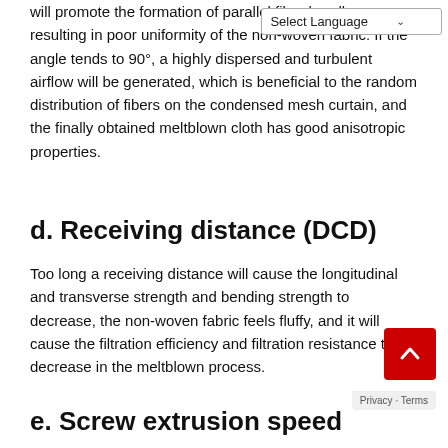will promote the formation of parallel fiber bundles resulting in poor uniformity of the non-woven fabric. If the angle tends to 90°, a highly dispersed and turbulent airflow will be generated, which is beneficial to the random distribution of fibers on the condensed mesh curtain, and the finally obtained meltblown cloth has good anisotropic properties.
d. Receiving distance (DCD)
Too long a receiving distance will cause the longitudinal and transverse strength and bending strength to decrease, the non-woven fabric feels fluffy, and it will cause the filtration efficiency and filtration resistance to decrease in the meltblown process.
e. Screw extrusion speed